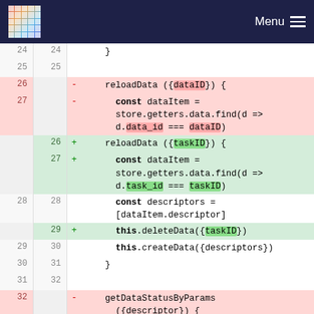Menu (navigation bar with logo)
[Figure (screenshot): Code diff view showing JavaScript code changes. Lines 24-33 shown. Removed lines (pink) use dataID and data_id; added lines (green) use taskID and task_id. Functions reloadData, deleteData, createData, getDataStatusByParams shown.]